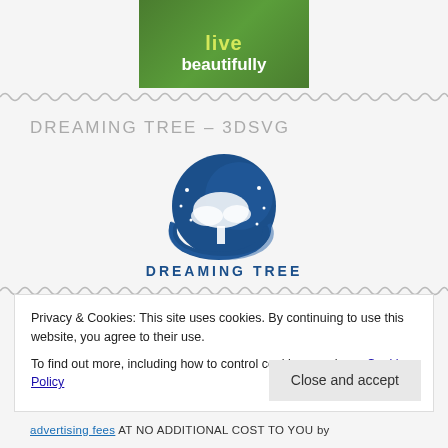[Figure (logo): Green logo with text 'live beautifully' in yellow and white on green background]
[Figure (logo): Dreaming Tree logo — blue circle with tree and moon illustration, text 'DREAMING TREE' below]
DREAMING TREE – 3DSVG
Privacy & Cookies: This site uses cookies. By continuing to use this website, you agree to their use.
To find out more, including how to control cookies, see here: Cookie Policy
Close and accept
advertising fees AT NO ADDITIONAL COST TO YOU by